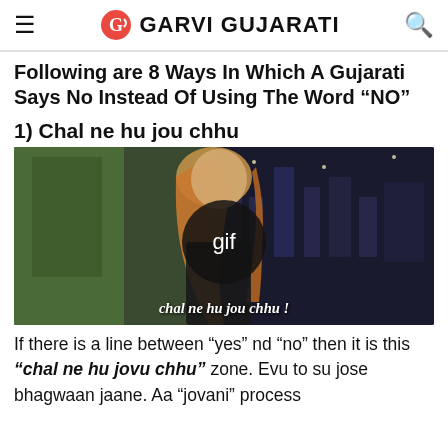GARVI GUJARATI
Following are 8 Ways In Which A Gujarati Says No Instead Of Using The Word “NO”
1) Chal ne hu jou chhu
[Figure (photo): A GIF image showing a woman (Jennifer Aniston-like) with long blonde hair, with a dark circular GIF overlay button in the center, and subtitle text 'chal ne hu jou chhu !' at the bottom]
If there is a line between “yes” nd “no” then it is this “chal ne hu jovu chhu” zone. Evu to su jose bhagwaan jaane. Aa “jovani” process